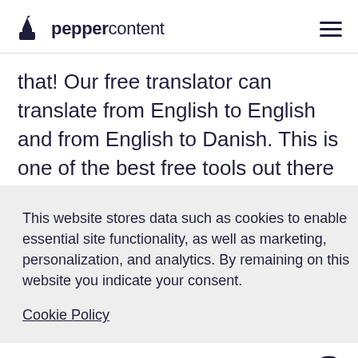peppercontent
that! Our free translator can translate from English to English and from English to Danish. This is one of the best free tools out there today, which is why it is gaining popularity at a rapid pace. The more people who use it, the more relevant and useful it ...
This website stores data such as cookies to enable essential site functionality, as well as marketing, personalization, and analytics. By remaining on this website you indicate your consent.
Cookie Policy
nglish s